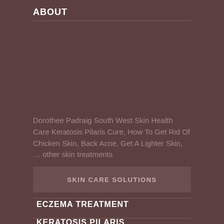ABOUT
Dorothee Padraig South West Skin Health Care Keratosis Pilaris Cure, How To Get Rid Of Chicken Skin, Back Acne, Get A Lighter Skin, … other skin treatments
SKIN CARE SOLUTIONS
ECZEMA TREATMENT
KERATOSIS PILARIS